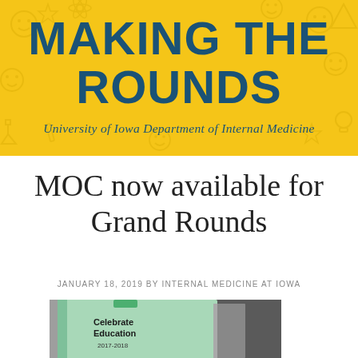MAKING THE ROUNDS
University of Iowa Department of Internal Medicine
MOC now available for Grand Rounds
JANUARY 18, 2019 BY INTERNAL MEDICINE AT IOWA
[Figure (photo): A light green binder/folder labeled 'Celebrate Education 2017-2018' propped open, photographed in an office or similar setting.]